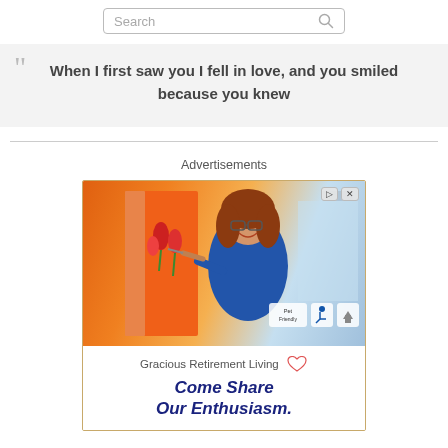[Figure (screenshot): Search bar with magnifying glass icon]
When I first saw you I fell in love, and you smiled because you knew
Advertisements
[Figure (photo): Advertisement for Gracious Retirement Living showing a woman painting at an easel, with tagline 'Come Share Our Enthusiasm.']